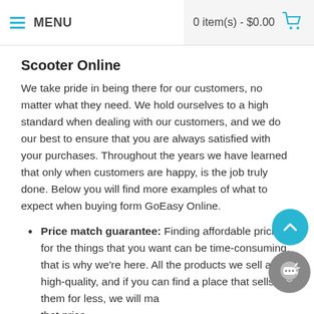MENU   0 item(s) - $0.00
Scooter Online
We take pride in being there for our customers, no matter what they need. We hold ourselves to a high standard when dealing with our customers, and we do our best to ensure that you are always satisfied with your purchases. Throughout the years we have learned that only when customers are happy, is the job truly done. Below you will find more examples of what to expect when buying form GoEasy Online.
Price match guarantee: Finding affordable pricing for the things that you want can be time-consuming, that is why we're here. All the products we sell are high-quality, and if you can find a place that sells them for less, we will match that price.
Manufacturer warranty on all product: We know how unpredictable life can be, and that is why all our products come with a warranty. Have peace of mind knowing if anything out of your control happens to your scooter, you